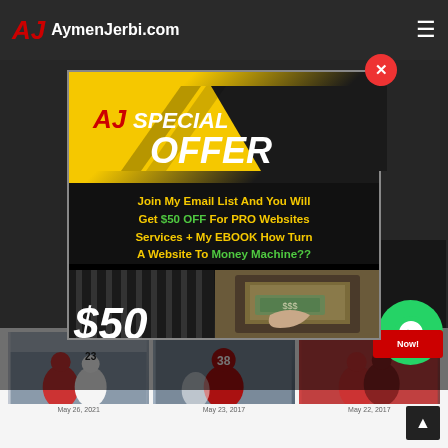AJ AymenJerbi.com
[Figure (screenshot): Website screenshot showing AymenJerbi.com with a popup modal overlay. The modal has a yellow/black header with 'AJ SPECIAL OFFER' text, and a black body with yellow text: 'Join My Email List And You Will Get $50 OFF For PRO Websites Services + My EBOOK How Turn A Website To Money Machine??' with green highlighted text for '$50 OFF' and 'Money Machine??'. A red close button (X) appears top-right of modal. Bottom shows three football player thumbnail images with dates.]
Join My Email List And You Will Get $50 OFF For PRO Websites Services + My EBOOK How Turn A Website To Money Machine??
May 26, 2021
May 23, 2017
May 22, 2017